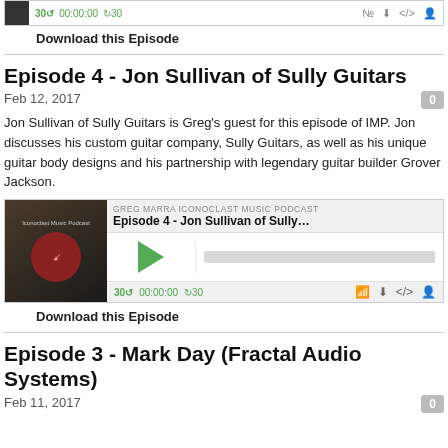[Figure (screenshot): Audio player widget for a podcast episode at top of page, showing thumbnail, play controls, 00:00:00 time, skip buttons, and icons]
Download this Episode
Episode 4 - Jon Sullivan of Sully Guitars
Feb 12, 2017
Jon Sullivan of Sully Guitars is Greg's guest for this episode of IMP. Jon discusses his custom guitar company, Sully Guitars, as well as his unique guitar body designs and his partnership with legendary guitar builder Grover Jackson.
[Figure (screenshot): Full podcast audio player widget showing Greg Marra Iconoclast Music Podcast, Episode 4 - Jon Sullivan of Sully G..., with play button, progress bar, 00:00:00 timer, skip 30 buttons and icons]
Download this Episode
Episode 3 - Mark Day (Fractal Audio Systems)
Feb 11, 2017